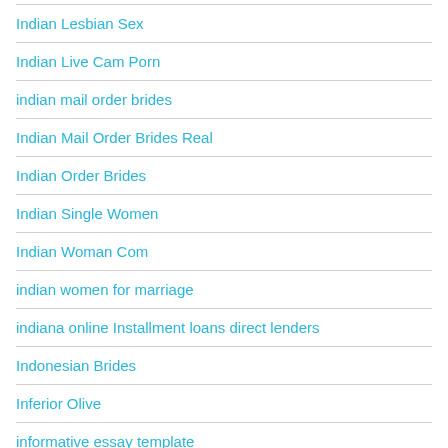Indian Lesbian Sex
Indian Live Cam Porn
indian mail order brides
Indian Mail Order Brides Real
Indian Order Brides
Indian Single Women
Indian Woman Com
indian women for marriage
indiana online Installment loans direct lenders
Indonesian Brides
Inferior Olive
informative essay template